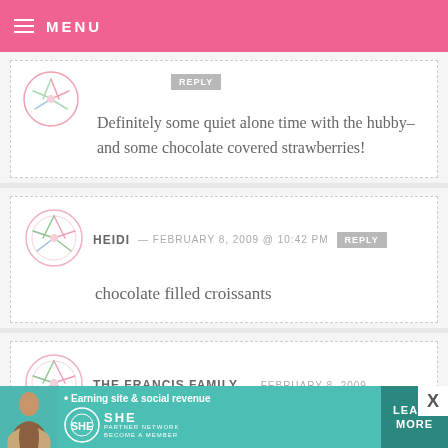MENU
Definitely some quiet alone time with the hubby–and some chocolate covered strawberries!
HEIDI — FEBRUARY 8, 2009 @ 10:42 PM   REPLY
chocolate filled croissants
THE FRANCIS FAMILY — FEBRUARY 8, 2009
[Figure (infographic): SHE Partner Network ad banner: Earning site & social revenue, LEARN MORE button]